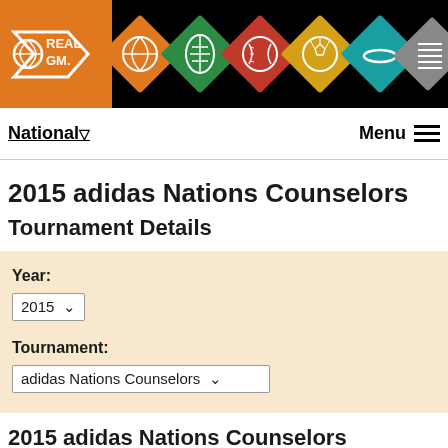[Figure (logo): RealGM website header with logo and sport navigation icons on black background]
National ▽   Menu ☰
2015 adidas Nations Counselors
Tournament Details
Year: 2015 (dropdown)   Tournament: adidas Nations Counselors (dropdown)
2015 adidas Nations Counselors Information